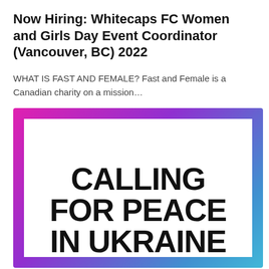Now Hiring: Whitecaps FC Women and Girls Day Event Coordinator (Vancouver, BC) 2022
WHAT IS FAST AND FEMALE? Fast and Female is a Canadian charity on a mission…
[Figure (illustration): Gradient border image (magenta to purple to blue) with white inner area containing large bold black text: CALLING FOR PEACE IN UKRAINE]